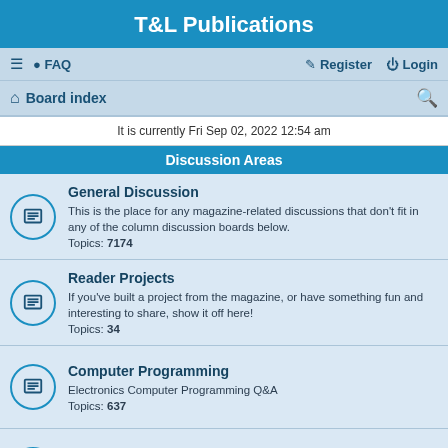T&L Publications
≡  FAQ    Register  Login
Board index
It is currently Fri Sep 02, 2022 12:54 am
Discussion Areas
General Discussion
This is the place for any magazine-related discussions that don't fit in any of the column discussion boards below.
Topics: 7174
Reader Projects
If you've built a project from the magazine, or have something fun and interesting to share, show it off here!
Topics: 34
Computer Programming
Electronics Computer Programming Q&A
Topics: 637
Robotics
Interested in Robotics? Here's the place to be.
Topics: 360
Projects & Kits
Get help with your Nuts & Volts projects or Kits purchased from Nuts & Volts here.
Topics: 60